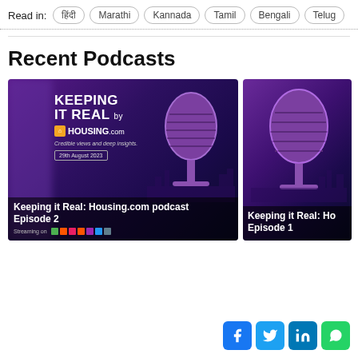Read in: हिंदी | Marathi | Kannada | Tamil | Bengali | Telugu
Recent Podcasts
[Figure (screenshot): Podcast card: Keeping it Real by Housing.com - Episode 2, 29th August 2023]
Keeping it Real: Housing.com podcast Episode 2
[Figure (screenshot): Podcast card: Keeping it Real: Housing.com - Episode 1]
Keeping it Real: Ho... Episode 1